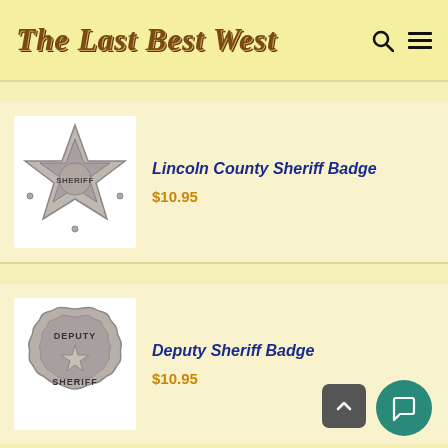The Last Best West
[Figure (illustration): Lincoln County Sheriff star badge, silver metallic finish, 5-pointed star shape]
Lincoln County Sheriff Badge
$10.95
[Figure (illustration): Deputy Sheriff badge, silver metallic, multi-sided star/flower shape with DEPUTY SHERIFF text and central star]
Deputy Sheriff Badge
$10.95